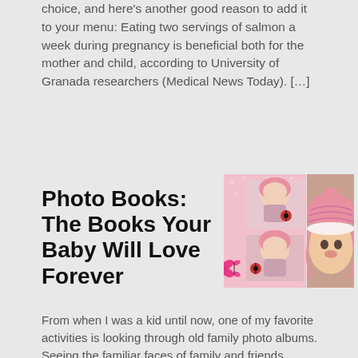choice, and here's another good reason to add it to your menu: Eating two servings of salmon a week during pregnancy is beneficial both for the mother and child, according to University of Granada researchers (Medical News Today). […]
Photo Books: The Books Your Baby Will Love Forever
[Figure (photo): Collage of baby photos with baby wearing pink knit hat, multiple poses, pink polka dot background with butterfly decoration; and close-up of baby in pink crochet hat]
From when I was a kid until now, one of my favorite activities is looking through old family photo albums. Seeing the familiar faces of family and friends, remembering the good times we shared, and